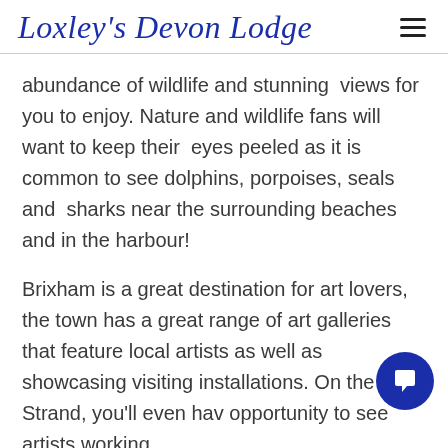Loxley's Devon Lodge
abundance of wildlife and stunning  views for you to enjoy. Nature and wildlife fans will want to keep their  eyes peeled as it is common to see dolphins, porpoises, seals and  sharks near the surrounding beaches and in the harbour!
Brixham is a great destination for art lovers, the town has a great range of art galleries that feature local artists as well as showcasing visiting installations. On the Strand, you'll even hav opportunity to see artists working.